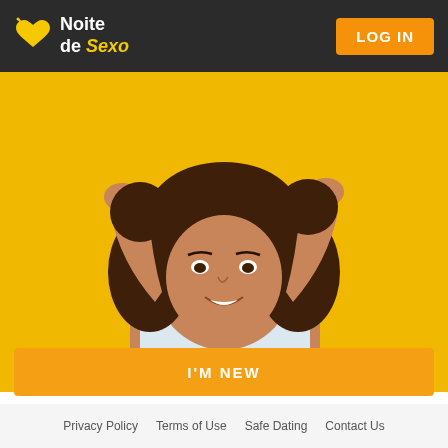Noite de Sexo | LOG IN
[Figure (photo): Young woman smiling against a yellow background, hands in hair, wearing a white top.]
I'M NEW
Privacy Policy   Terms of Use   Safe Dating   Contact Us